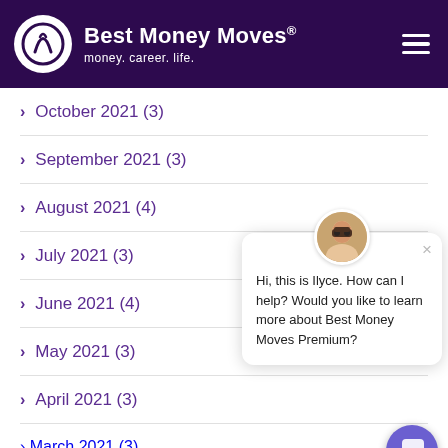Best Money Moves® — money. career. life.
> October 2021 (3)
> September 2021 (3)
> August 2021 (4)
> July 2021 (3)
> June 2021 (4)
> May 2021 (3)
> April 2021 (3)
> March 2021 (3)
[Figure (illustration): Chat popup with avatar photo of Ilyce, close button, and message: Hi, this is Ilyce. How can I help? Would you like to learn more about Best Money Moves Premium?]